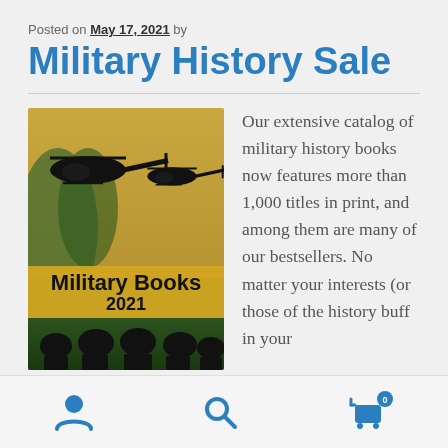Posted on May 17, 2021 by
Military History Sale
[Figure (illustration): Military Books 2021 catalog cover showing silhouettes of helicopters and soldiers against a green and yellow background]
Our extensive catalog of military history books now features more than 1,000 titles in print, and among them are many of our bestsellers. No matter your interests (or those of the history buff in your
User icon, Search icon, Cart icon with badge 0